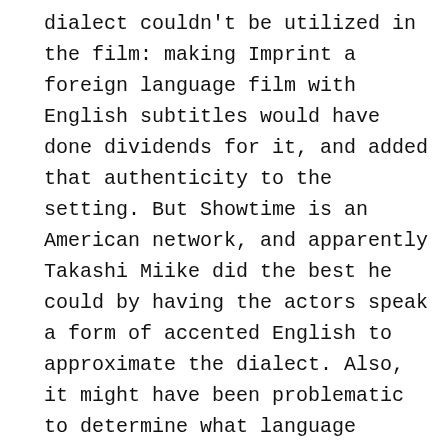dialect couldn't be utilized in the film: making Imprint a foreign language film with English subtitles would have done dividends for it, and added that authenticity to the setting. But Showtime is an American network, and apparently Takashi Miike did the best he could by having the actors speak a form of accented English to approximate the dialect. Also, it might have been problematic to determine what language Christopher, or Billy Drago, would have spoken if everyone was speaking a form of Japanese. Someone might have had to speak English, anyway. Even so, It's interesting to look at how this discussion of the novella, whatever its original language, translates through the screenplay, and into the narrative of the film. Writers and critics like Leung examine the